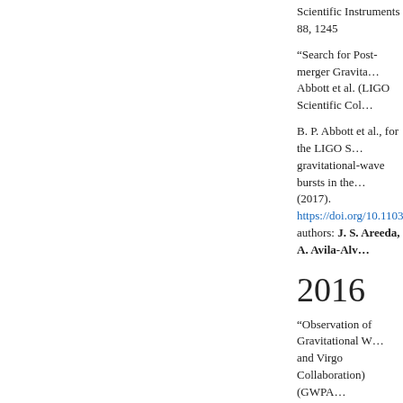Scientific Instruments 88, 1245
“Search for Post-merger Gravita… Abbott et al. (LIGO Scientific Col…
B. P. Abbott et al., for the LIGO S… gravitational-wave bursts in the… (2017). https://doi.org/10.1103… authors: J. S. Areeda, A. Avila-Alv…
2016
“Observation of Gravitational W… and Virgo Collaboration) (GWPA… Smith, D. C. Vander-Hyde*.) Phy… 10.1103/PhysRevLett.116.0611…
"GW151226: Observation of Gr… (LIGO Scientific Collaboration a… J. R. Smith, D. C. Vander-Hyde*.) (2016). http://journals.aps.org/p…
Geoffrey Lovelace, Carlos O. Lou… Manuela Campanelli, Daniel A. H…